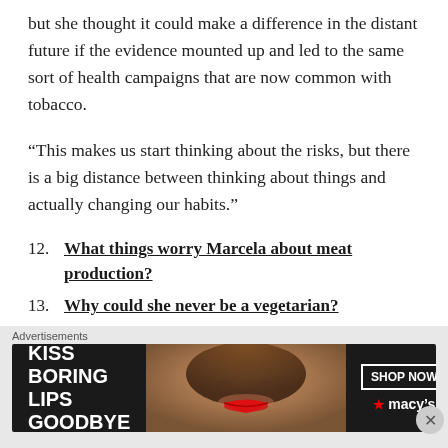but she thought it could make a difference in the distant future if the evidence mounted up and led to the same sort of health campaigns that are now common with tobacco.
“This makes us start thinking about the risks, but there is a big distance between thinking about things and actually changing our habits.”
12. What things worry Marcela about meat production?
13. Why could she never be a vegetarian?
14. What’s her conclusion?
15. What’s your opinion?
[Figure (advertisement): Macy's advertisement: KISS BORING LIPS GOODBYE with SHOP NOW button and Macy's logo, showing a woman's face with red lips]